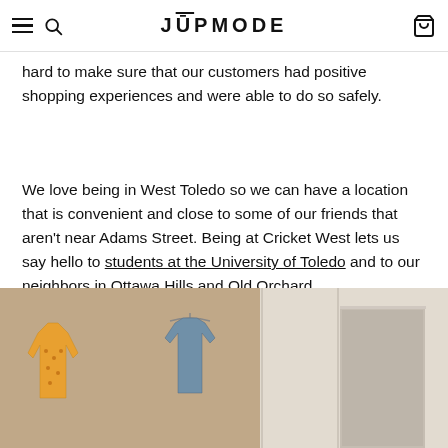JŪPMODE — navigation header with hamburger menu, search, and cart icons
hard to make sure that our customers had positive shopping experiences and were able to do so safely.
We love being in West Toledo so we can have a location that is convenient and close to some of our friends that aren't near Adams Street. Being at Cricket West lets us say hello to students at the University of Toledo and to our neighbors in Ottawa Hills and Old Orchard.
[Figure (photo): Interior of a clothing store showing shirts hanging on a wall display, including an orange/yellow patterned shirt on the left and a blue/grey shirt on a hanger in the center, with white paneled walls in the background.]